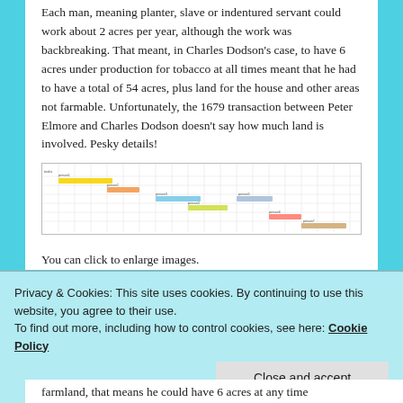Each man, meaning planter, slave or indentured servant could work about 2 acres per year, although the work was backbreaking. That meant, in Charles Dodson's case, to have 6 acres under production for tobacco at all times meant that he had to have a total of 54 acres, plus land for the house and other areas not farmable. Unfortunately, the 1679 transaction between Peter Elmore and Charles Dodson doesn't say how much land is involved. Pesky details!
[Figure (other): A Gantt-style timeline chart showing colored horizontal bars across rows, representing different tasks or events over time. Bars are colored yellow, orange, blue, green, pink/red, and tan.]
You can click to enlarge images.
Privacy & Cookies: This site uses cookies. By continuing to use this website, you agree to their use.
To find out more, including how to control cookies, see here: Cookie Policy
farmland, that means he could have 6 acres at any time